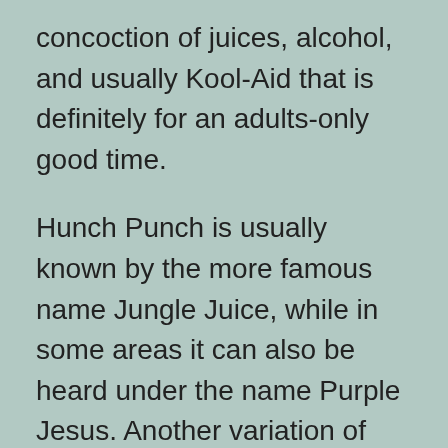concoction of juices, alcohol, and usually Kool-Aid that is definitely for an adults-only good time.
Hunch Punch is usually known by the more famous name Jungle Juice, while in some areas it can also be heard under the name Purple Jesus. Another variation of the name Hunch Punch is Blog. However, this has nothing to do with online magazines. The name is used for the drink when served to visitors to various science fiction conventions.
Hunch Punch is by far a favorite on college